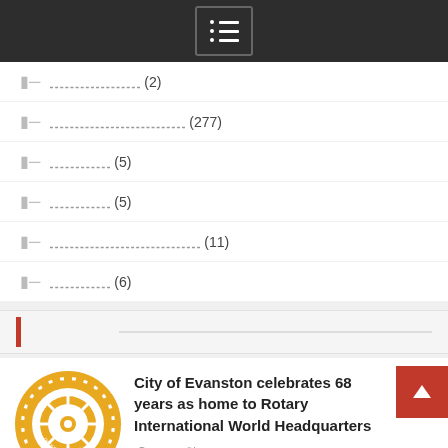Navigation menu header bar
▤ 〓〓〓〓〓〓 (2)
▤ 〓〓〓〓〓〓〓〓〓 (277)
▤ 〓〓〓〓 (5)
▤ 〓〓〓〓 (5)
▤ 〓〓〓〓〓〓〓〓〓〓 (11)
▤ 〓〓〓〓 (6)
〓〓〓〓
[Figure (logo): Rotary International circular gold gear/wheel logo]
City of Evanston celebrates 68 years as home to Rotary International World Headquarters
22 8 월, 2022